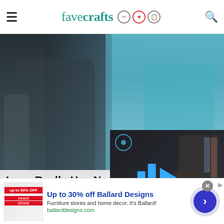favecrafts
[Figure (photo): Two people walking outdoors — a man in a black t-shirt on the left and a woman in a teal top on the right, with water/lake in the background]
Love Really Has No A
The Sports Drop
[Figure (screenshot): Dark video player overlay with blue play bars and play button icon, showing a person in a room]
[Pho Might Look Familiar To You
[Figure (photo): Small thumbnail showing a man and woman in front of an American flag]
Up to 30% off Ballard Designs
Furniture stores and home decor. It's Ballard!
ballarddesigns.com